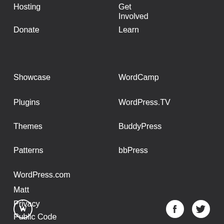Hosting
Donate
Showcase
Plugins
Themes
Patterns
WordPress.com
Matt
Privacy
Public Code
Get Involved
Learn
WordCamp
WordPress.TV
BuddyPress
bbPress
[Figure (logo): WordPress logo circle, Facebook icon, Twitter icon in footer bar]